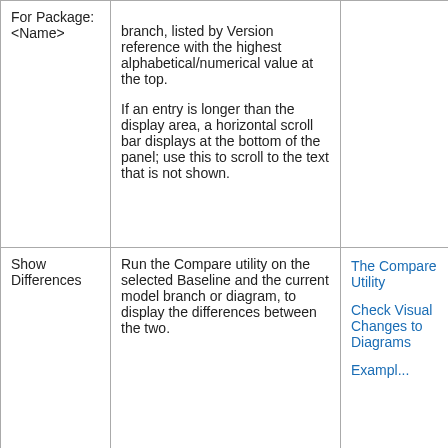|  |  |  |
| --- | --- | --- |
| For Package: <Name> | branch, listed by Version reference with the highest alphabetical/numerical value at the top.

If an entry is longer than the display area, a horizontal scroll bar displays at the bottom of the panel; use this to scroll to the text that is not shown. |  |
| Show Differences | Run the Compare utility on the selected Baseline and the current model branch or diagram, to display the differences between the two. | The Compare Utility
Check Visual Changes to Diagrams
Exampl... |